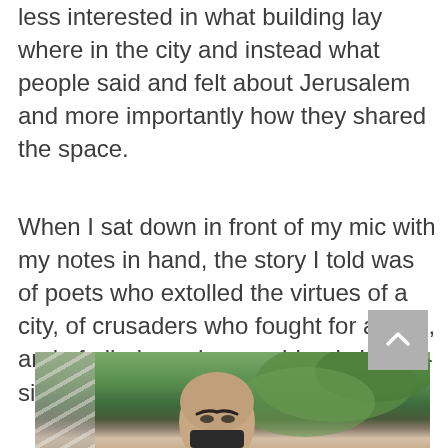less interested in what building lay where in the city and instead what people said and felt about Jerusalem and more importantly how they shared the space.
When I sat down in front of my mic with my notes in hand, the story I told was of poets who extolled the virtues of a city, of crusaders who fought for a land, and of pilgrims who worshiped side-by-side in Jerusalem.
[Figure (photo): Partial photo of a bald man wearing a dark face mask, photographed outdoors with green trees in the background and architectural elements (diagonal lines/columns) visible on the left side.]